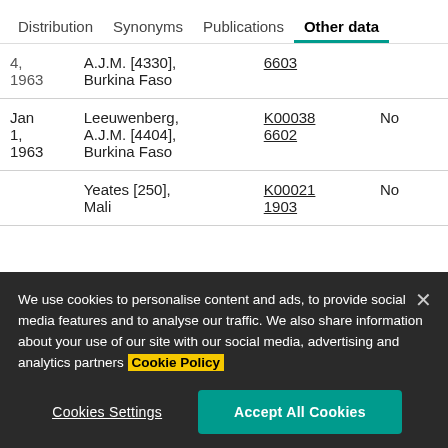Distribution | Synonyms | Publications | Other data
| Date | Author/Location | Code | Extra |
| --- | --- | --- | --- |
| 4, 1963 | A.J.M. [4330], Burkina Faso | 6603 |  |
| Jan 1, 1963 | Leeuwenberg, A.J.M. [4404], Burkina Faso | K00038 6602 | No |
|  | Yeates [250], Mali | K00021 1903 | No |
We use cookies to personalise content and ads, to provide social media features and to analyse our traffic. We also share information about your use of our site with our social media, advertising and analytics partners Cookie Policy
Cookies Settings | Accept All Cookies